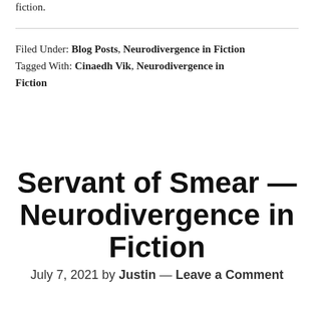fiction.
Filed Under: Blog Posts, Neurodivergence in Fiction
Tagged With: Cinaedh Vik, Neurodivergence in Fiction
Servant of Smear — Neurodivergence in Fiction
July 7, 2021 by Justin — Leave a Comment